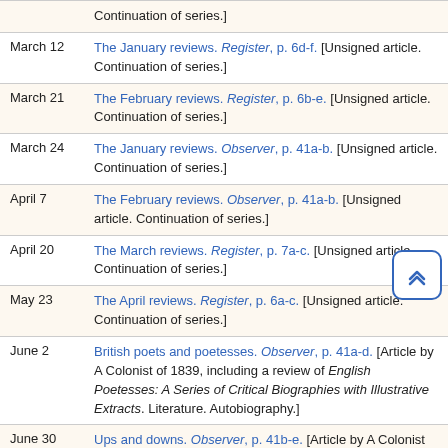| Date | Entry |
| --- | --- |
|  | Continuation of series.] |
| March 12 | The January reviews. Register, p. 6d-f. [Unsigned article. Continuation of series.] |
| March 21 | The February reviews. Register, p. 6b-e. [Unsigned article. Continuation of series.] |
| March 24 | The January reviews. Observer, p. 41a-b. [Unsigned article. Continuation of series.] |
| April 7 | The February reviews. Observer, p. 41a-b. [Unsigned article. Continuation of series.] |
| April 20 | The March reviews. Register, p. 7a-c. [Unsigned article. Continuation of series.] |
| May 23 | The April reviews. Register, p. 6a-c. [Unsigned article. Continuation of series.] |
| June 2 | British poets and poetesses. Observer, p. 41a-d. [Article by A Colonist of 1839, including a review of English Poetesses: A Series of Critical Biographies with Illustrative Extracts. Literature. Autobiography.] |
| June 30 | Ups and downs. Observer, p. 41b-e. [Article by A Colonist of 1839. Social issues.] |
| July 10 | The May reviews. Register, pp. 5h-6ab. [Unsigned article. Continuation of series.] |
| July 21 | Miscellaneous reviews. Observer, p. 41a-c. [Unsigned... |